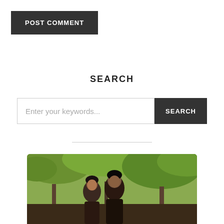POST COMMENT
SEARCH
Enter your keywords...
[Figure (photo): Outdoor photograph of a couple (man and woman) in a park setting with green trees in the background, partially cropped at the bottom of the page]